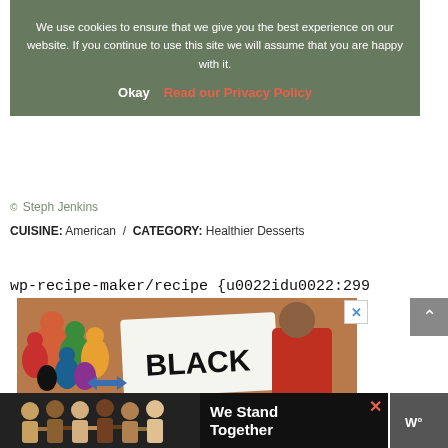Leave a comment, rate it, and tag your photos @cheapstatecooking on Instagram.
We use cookies to ensure that we give you the best experience on our website. If you continue to use this site we will assume that you are happy with it.
Okay    Read our Privacy Policy
© Steph Jenkins
CUISINE: American  /  CATEGORY: Healthier Desserts
wp-recipe-maker/recipe {u0022idu0022:299
[Figure (illustration): Colorful illustrated people with a sign reading BLACK, part of a We Stand Together advertisement]
We Stand Together